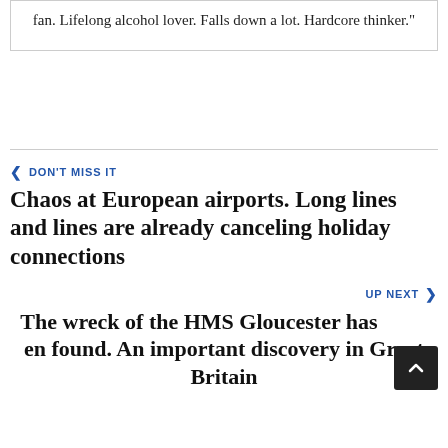fan. Lifelong alcohol lover. Falls down a lot. Hardcore thinker."
< DON'T MISS IT
Chaos at European airports. Long lines and lines are already canceling holiday connections
UP NEXT >
The wreck of the HMS Gloucester has been found. An important discovery in Great Britain